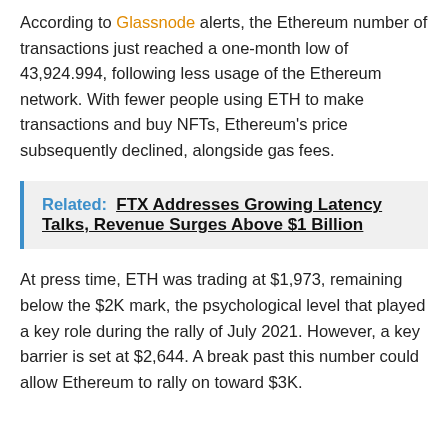According to Glassnode alerts, the Ethereum number of transactions just reached a one-month low of 43,924.994, following less usage of the Ethereum network. With fewer people using ETH to make transactions and buy NFTs, Ethereum's price subsequently declined, alongside gas fees.
Related: FTX Addresses Growing Latency Talks, Revenue Surges Above $1 Billion
At press time, ETH was trading at $1,973, remaining below the $2K mark, the psychological level that played a key role during the rally of July 2021. However, a key barrier is set at $2,644. A break past this number could allow Ethereum to rally on toward $3K.